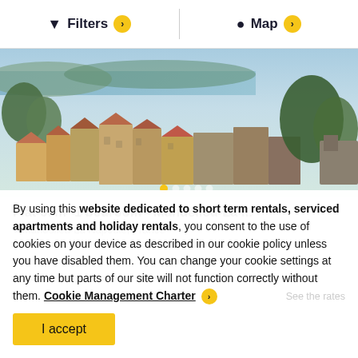Filters  Map
[Figure (photo): Aerial/elevated view of Mandelieu-La Napoule coastal town in France, showing orange-roofed Mediterranean buildings, trees, and the sea in the background.]
Flat 67m² 1 bedroom - Mandelieu-La ...
Mandelieu-La Napoule, France
By using this website dedicated to short term rentals, serviced apartments and holiday rentals, you consent to the use of cookies on your device as described in our cookie policy unless you have disabled them. You can change your cookie settings at any time but parts of our site will not function correctly without them. Cookie Management Charter
I accept